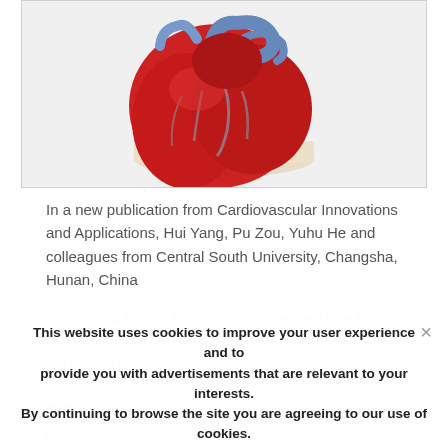[Figure (photo): Anatomical model of a human heart in red with blue vessels, mounted on a beige base, on a white background]
In a new publication from Cardiovascular Innovations and Applications, Hui Yang, Pu Zou, Yuhu He and colleagues from Central South University, Changsha, Hunan, China
discuss risk factors for prognosis after the Maze IV procedure in patients with atrial fibrillation undergoing [...] factors [...]
This website uses cookies to improve your user experience and to provide you with advertisements that are relevant to your interests. By continuing to browse the site you are agreeing to our use of cookies.
OK
Health News,   aft, factors,  for,  prognosis,  risk,